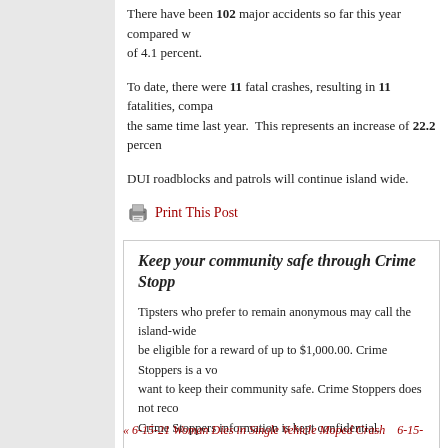There have been 102 major accidents so far this year compared with of 4.1 percent.
To date, there were 11 fatal crashes, resulting in 11 fatalities, compared with the same time last year. This represents an increase of 22.2 percent.
DUI roadblocks and patrols will continue island wide.
Print This Post
Keep your community safe through Crime Stopp...
Tipsters who prefer to remain anonymous may call the island-wide be eligible for a reward of up to $1,000.00. Crime Stoppers is a vo want to keep their community safe. Crime Stoppers does not reco Crime Stoppers information is kept confidential.
The Crime Stoppers TV Program is available on-demand from Na...
« 6-15-21 Woman Dies in Single Vehicle Moped Crash    6-15-...